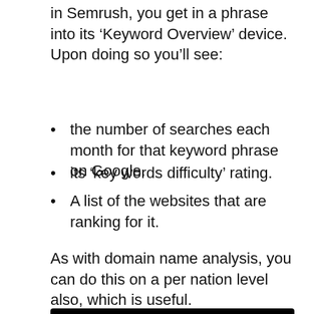in Semrush, you get in a phrase into its ‘Keyword Overview’ device. Upon doing so you’ll see:
the number of searches each month for that keyword phrase on Google.
its ‘key words difficulty’ rating.
A list of the websites that are ranking for it.
As with domain name analysis, you can do this on a per nation level also, which is useful.
[Figure (screenshot): YouTube video thumbnail showing 'Most Common SEO Mistakes Y...' with a Semrush-style orange circular logo and a person's head visible at the bottom.]